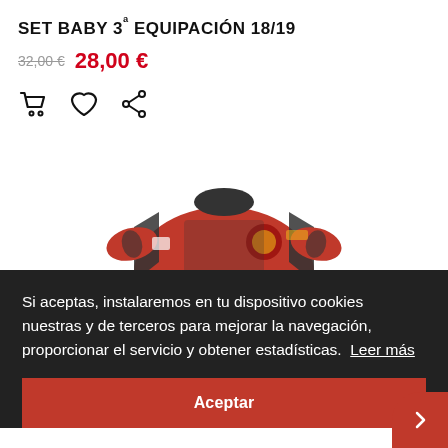SET BABY 3ª EQUIPACIÓN 18/19
32,00 € 28,00 €
[Figure (screenshot): Product photo of a red and dark Mallorca baby football kit (jersey and shorts set), 3rd kit for 18/19 season.]
Si aceptas, instalaremos en tu dispositivo cookies nuestras y de terceros para mejorar la navegación, proporcionar el servicio y obtener estadísticas.  Leer más
Aceptar